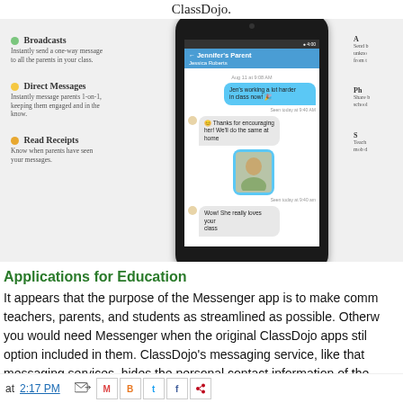ClassDojo.
[Figure (screenshot): Screenshot of ClassDojo Messenger app interface showing a phone with a chat between Jennifer's Parent (Jessica Roberts) and a teacher. The phone screen shows message bubbles including 'Jen's working a lot harder in class now!' and 'Thanks for encouraging her! We'll do the same at home' and a photo, and 'Wow! She really loves your class'. Left panel shows features: Broadcasts, Direct Messages, Read Receipts.]
Applications for Education
It appears that the purpose of the Messenger app is to make comm teachers, parents, and students as streamlined as possible. Otherw you would need Messenger when the original ClassDojo apps stil option included in them. ClassDojo's messaging service, like that messaging services, hides the personal contact information of the parents. Parents have to opt-in to receive messages from the teach
at 2:17 PM